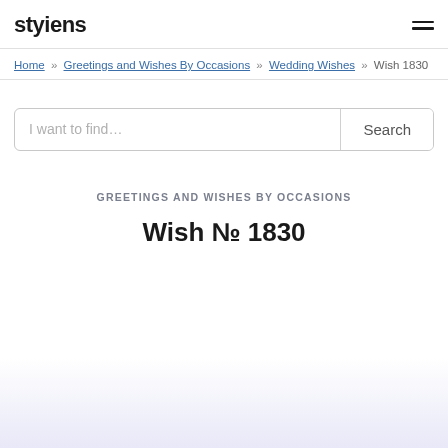styiens
Home » Greetings and Wishes By Occasions » Wedding Wishes » Wish 1830
I want to find... Search
GREETINGS AND WISHES BY OCCASIONS
Wish № 1830